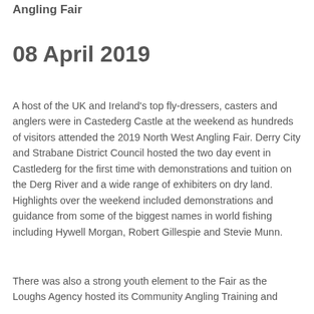Angling Fair
08 April 2019
A host of the UK and Ireland's top fly-dressers, casters and anglers were in Castederg Castle at the weekend as hundreds of visitors attended the 2019 North West Angling Fair. Derry City and Strabane District Council hosted the two day event in Castlederg for the first time with demonstrations and tuition on the Derg River and a wide range of exhibiters on dry land. Highlights over the weekend included demonstrations and guidance from some of the biggest names in world fishing including Hywell Morgan, Robert Gillespie and Stevie Munn.
There was also a strong youth element to the Fair as the Loughs Agency hosted its Community Angling Training and